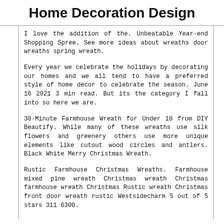Home Decoration Design
I love the addition of the. Unbeatable Year-end Shopping Spree. See more ideas about wreaths door wreaths spring wreath.
Every year we celebrate the holidays by decorating our homes and we all tend to have a preferred style of home decor to celebrate the season. June 16 2021 3 min read. But its the category I fall into so here we are.
30-Minute Farmhouse Wreath for Under 10 from DIY Beautify. While many of these wreaths use silk flowers and greenery others use more unique elements like cutout wood circles and antlers. Black White Merry Christmas Wreath.
Rustic Farmhouse Christmas Wreaths. Farmhouse mixed pine wreath Christmas wreath Christmas farmhouse wreath Christmas Rustic wreath Christmas front door wreath rustic Westsidecharm 5 out of 5 stars 311 6300.